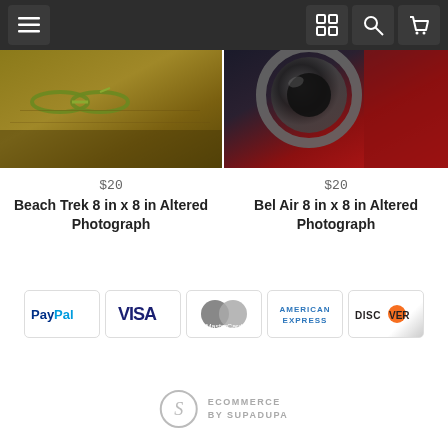Navigation bar with menu, grid, search, and cart icons
[Figure (photo): Close-up altered photograph of beach trek scene with golden/olive tones and green glasses visible]
$20
Beach Trek 8 in x 8 in Altered Photograph
[Figure (photo): Close-up altered photograph of Bel Air car taillight with dark and red tones]
$20
Bel Air 8 in x 8 in Altered Photograph
[Figure (infographic): Payment method badges: PayPal, VISA, MasterCard, American Express, Discover]
ECOMMERCE BY SUPADUPA